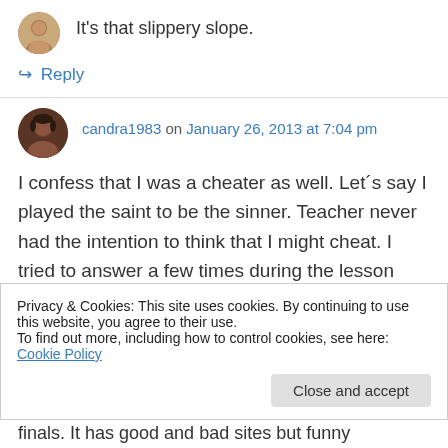It's that slippery slope.
↳ Reply
candra1983 on January 26, 2013 at 7:04 pm
I confess that I was a cheater as well. Let´s say I played the saint to be the sinner. Teacher never had the intention to think that I might cheat. I tried to answer a few times during the lesson and kept an interesting face when I was
Privacy & Cookies: This site uses cookies. By continuing to use this website, you agree to their use. To find out more, including how to control cookies, see here: Cookie Policy
Close and accept
finals. It has good and bad sites but funny